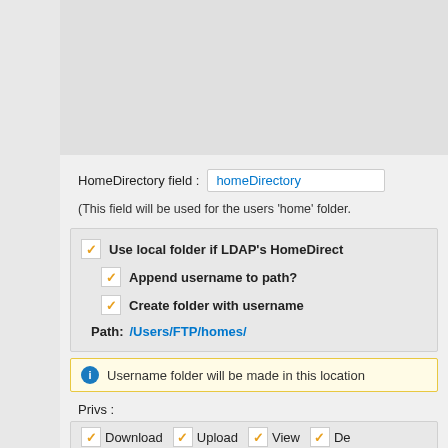[Figure (screenshot): Top gray panel area, partially visible UI section]
HomeDirectory field : homeDirectory
(This field will be used for the users 'home' folder.
Use local folder if LDAP's HomeDirectory (checked)
Append username to path? (checked)
Create folder with username (checked)
Path: /Users/FTP/homes/
Username folder will be made in this location
Privs :
Download  Upload  View  De (all checked)
Quota:(MB)
Comment: (HTML OK)